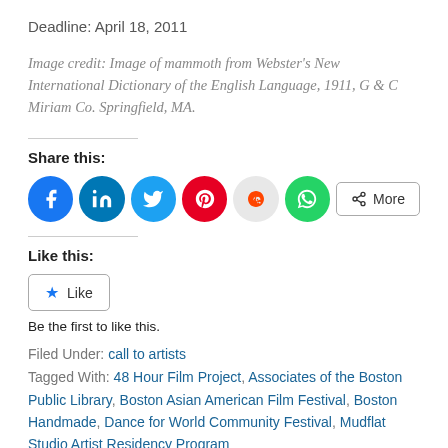Deadline: April 18, 2011
Image credit: Image of mammoth from Webster's New International Dictionary of the English Language, 1911, G & C Miriam Co. Springfield, MA.
Share this:
[Figure (other): Social share buttons: Facebook, LinkedIn, Twitter, Pinterest, Reddit, WhatsApp, and More]
Like this:
[Figure (other): Like button widget]
Be the first to like this.
Filed Under: call to artists
Tagged With: 48 Hour Film Project, Associates of the Boston Public Library, Boston Asian American Film Festival, Boston Handmade, Dance for World Community Festival, Mudflat Studio Artist Residency Program